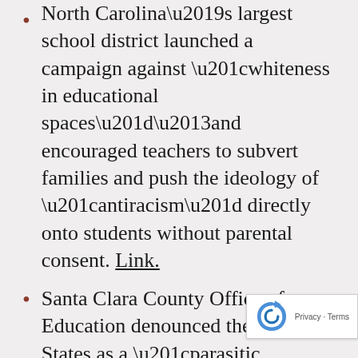North Carolina's largest school district launched a campaign against “whiteness in educational spaces”–and encouraged teachers to subvert families and push the ideology of “antiracism” directly onto students without parental consent. Link.
Santa Clara County Office of Education denounced the United States as a “parasitic system” based on the “invasion” of “white male settlers” and encouraged teachers to “cash in on kids’ inherent empathy” in order to recruit them into political activism. Link.
Portland Public Schools trained children to become race-conscious